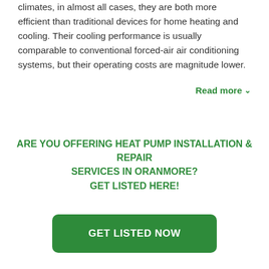climates, in almost all cases, they are both more efficient than traditional devices for home heating and cooling. Their cooling performance is usually comparable to conventional forced-air air conditioning systems, but their operating costs are magnitude lower.
Read more ∨
ARE YOU OFFERING HEAT PUMP INSTALLATION & REPAIR SERVICES IN ORANMORE? GET LISTED HERE!
GET LISTED NOW